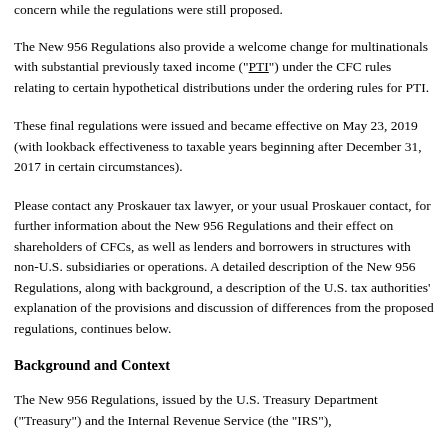concern while the regulations were still proposed.
The New 956 Regulations also provide a welcome change for multinationals with substantial previously taxed income ("PTI") under the CFC rules relating to certain hypothetical distributions under the ordering rules for PTI.
These final regulations were issued and became effective on May 23, 2019 (with lookback effectiveness to taxable years beginning after December 31, 2017 in certain circumstances).
Please contact any Proskauer tax lawyer, or your usual Proskauer contact, for further information about the New 956 Regulations and their effect on shareholders of CFCs, as well as lenders and borrowers in structures with non-U.S. subsidiaries or operations. A detailed description of the New 956 Regulations, along with background, a description of the U.S. tax authorities' explanation of the provisions and discussion of differences from the proposed regulations, continues below.
Background and Context
The New 956 Regulations, issued by the U.S. Treasury Department ("Treasury") and the Internal Revenue Service (the "IRS"),